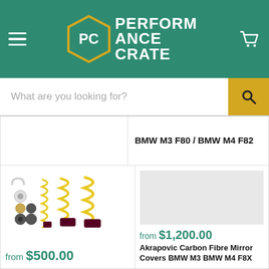[Figure (logo): Performance Crate logo with hexagon PC emblem on teal/green header with hamburger menu and cart icon]
What are you looking for?
BMW M3 F80 / BMW M4 F82
[Figure (photo): Yellow coilover suspension springs kit with hardware pieces]
from $500.00
[Figure (photo): Gray placeholder image for Akrapovic Carbon Fibre Mirror Covers]
from $1,200.00
Akrapovic Carbon Fibre Mirror Covers BMW M3 BMW M4 F8X